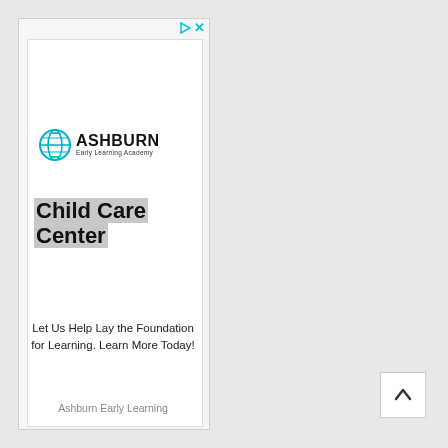[Figure (logo): Ashburn Early Learning Academy logo with globe icon and text 'ASHBURN Early Learning Academy']
Child Care Center
Let Us Help Lay the Foundation for Learning. Learn More Today!
Ashburn Early Learning